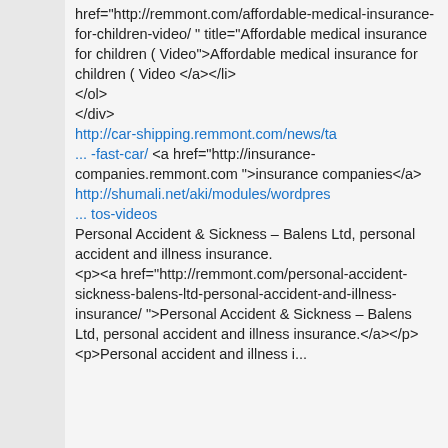href="http://remmont.com/affordable-medical-insurance-for-children-video/ " title="Affordable medical insurance for children ( Video">Affordable medical insurance for children ( Video </a></li> </ol> </div>
http://car-shipping.remmont.com/news/ta ... -fast-car/ <a href="http://insurance-companies.remmont.com ">insurance companies</a>
http://shumali.net/aki/modules/wordpres ... tos-videos
Personal Accident & Sickness – Balens Ltd, personal accident and illness insurance.
<p><a href="http://remmont.com/personal-accident-sickness-balens-ltd-personal-accident-and-illness-insurance/ ">Personal Accident & Sickness – Balens Ltd, personal accident and illness insurance.</a></p>
<p>Personal accident and illness insurance...